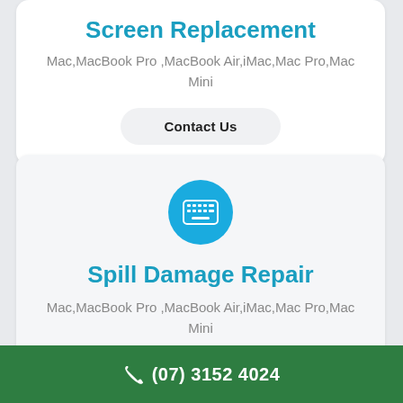Screen Replacement
Mac,MacBook Pro ,MacBook Air,iMac,Mac Pro,Mac Mini
Contact Us
[Figure (illustration): Blue circle icon with white keyboard symbol]
Spill Damage Repair
Mac,MacBook Pro ,MacBook Air,iMac,Mac Pro,Mac Mini
Contact Us
(07) 3152 4024